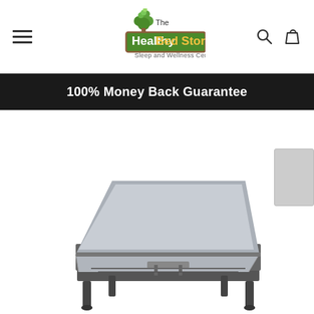[Figure (logo): The Healthy Bed Store logo with tree graphic and tagline 'Sleep and Wellness Center']
100% Money Back Guarantee
[Figure (photo): Adjustable bed base shown in partially reclined position on white background, with a corner of another product visible on the right edge]